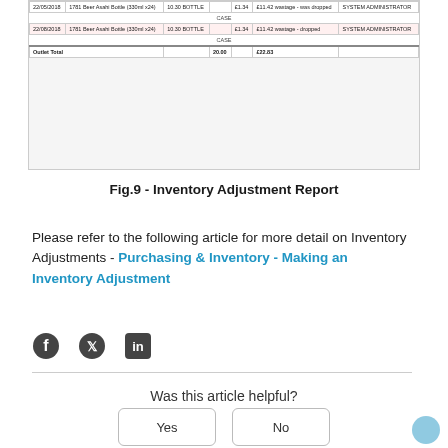[Figure (screenshot): Screenshot of an Inventory Adjustment Report table showing rows with date 22/05/2018, product Beer Asahi Bottle (330ml x24), quantity 10.30 BOTTLE, unit price £1.34, total £11.42, reason wastage-was dropped/wastage-dropped, user SYSTEM ADMINISTRATOR. One row is highlighted with a red border. Outlet Total row shows 20.00 and £22.83.]
Fig.9 - Inventory Adjustment Report
Please refer to the following article for more detail on Inventory Adjustments - Purchasing & Inventory - Making an Inventory Adjustment
[Figure (other): Social media share icons: Facebook, Twitter, LinkedIn]
Was this article helpful?